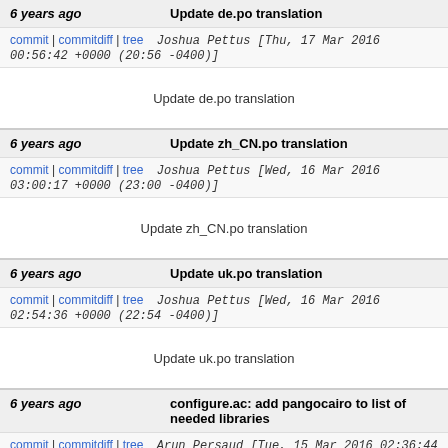6 years ago   Update de.po translation
commit | commitdiff | tree   Joshua Pettus [Thu, 17 Mar 2016 00:56:42 +0000 (20:56 -0400)]
Update de.po translation
6 years ago   Update zh_CN.po translation
commit | commitdiff | tree   Joshua Pettus [Wed, 16 Mar 2016 03:00:17 +0000 (23:00 -0400)]
Update zh_CN.po translation
6 years ago   Update uk.po translation
commit | commitdiff | tree   Joshua Pettus [Wed, 16 Mar 2016 02:54:36 +0000 (22:54 -0400)]
Update uk.po translation
6 years ago   configure.ac: add pangocairo to list of needed libraries
commit | commitdiff | tree   Arun Persaud [Tue, 15 Mar 2016 02:36:44 +0000 (19:36 -0700)]
configure.ac: add pangocairo to list of needed libra